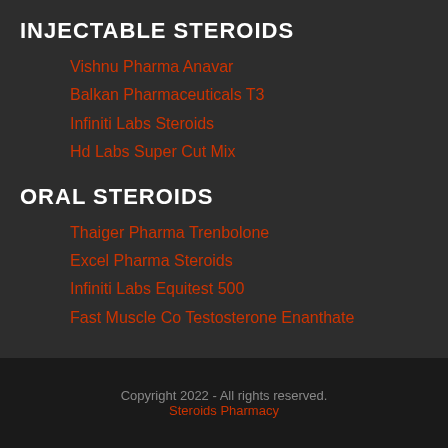INJECTABLE STEROIDS
Vishnu Pharma Anavar
Balkan Pharmaceuticals T3
Infiniti Labs Steroids
Hd Labs Super Cut Mix
ORAL STEROIDS
Thaiger Pharma Trenbolone
Excel Pharma Steroids
Infiniti Labs Equitest 500
Fast Muscle Co Testosterone Enanthate
Copyright 2022 - All rights reserved.
Steroids Pharmacy